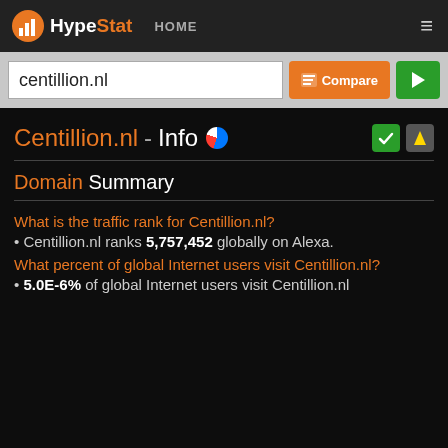HypeStat HOME
centillion.nl
Centillion.nl - Info
Domain Summary
What is the traffic rank for Centillion.nl?
Centillion.nl ranks 5,757,452 globally on Alexa.
What percent of global Internet users visit Centillion.nl?
5.0E-6% of global Internet users visit Centillion.nl